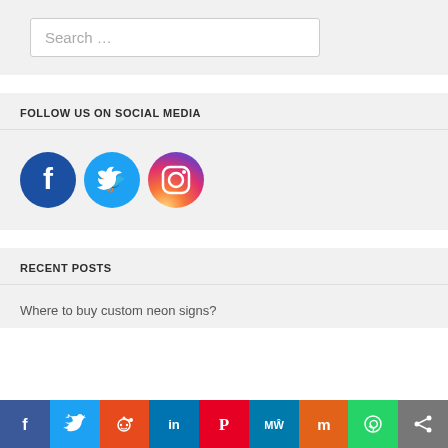Search …
FOLLOW US ON SOCIAL MEDIA
[Figure (infographic): Three social media icon circles: Facebook (dark blue), Twitter (light blue), Instagram (gradient pink/orange/purple)]
RECENT POSTS
Where to buy custom neon signs?
[Figure (infographic): Bottom share bar with icons: Facebook (blue), Twitter (blue), Reddit (orange-red), LinkedIn (dark blue), Pinterest (red), MeWe (teal), Mix (orange), WhatsApp (green), Share (grey)]